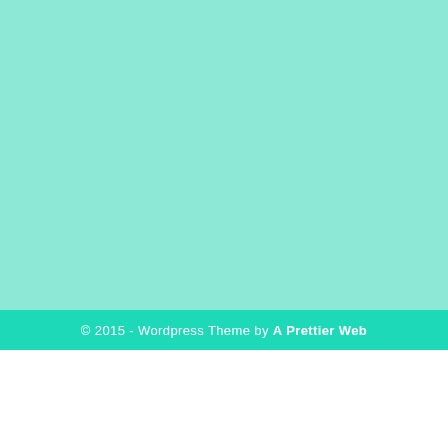[Figure (illustration): Large mint/teal colored background rectangle filling the upper portion of the page]
© 2015 - Wordpress Theme by A Prettier Web